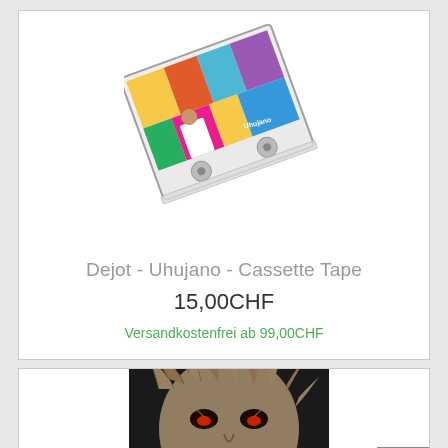[Figure (photo): Colorful cassette tape product photo, rotated slightly, showing a cassette case with colorful abstract/graffiti artwork on the label, including a figure in white shirt. Text 'Uhujano' visible on cassette.]
Dejot - Uhujano - Cassette Tape
15,00CHF
Versandkostenfrei ab 99,00CHF
[Figure (photo): Partially visible product image showing a dark album/cassette cover with a monstrous face illustration with large teeth and wild hair/fur.]